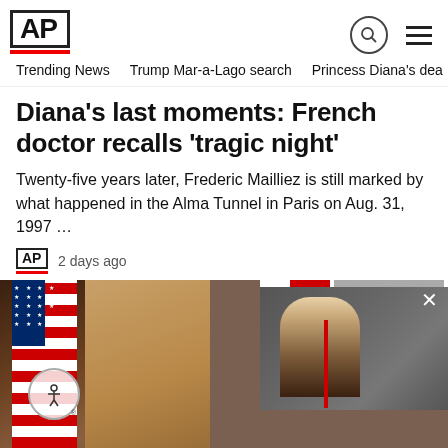AP
Trending News   Trump Mar-a-Lago search   Princess Diana's dea
Diana's last moments: French doctor recalls 'tragic night'
Twenty-five years later, Frederic Mailliez is still marked by what happened in the Alma Tunnel in Paris on Aug. 31, 1997 …
AP   2 days ago
[Figure (photo): Photo of a woman with blonde hair in front of a US flag, with an overlaid image of a man in a suit speaking at a podium]